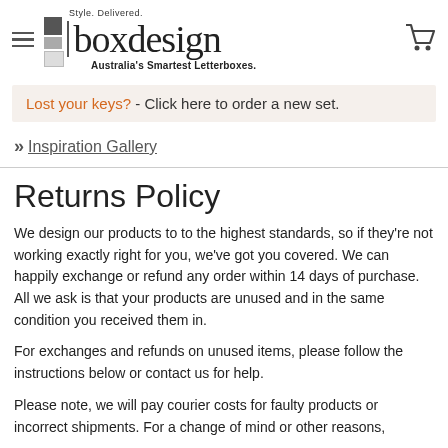Style. Delivered. boxdesign Australia's Smartest Letterboxes.
Lost your keys? - Click here to order a new set.
» Inspiration Gallery
Returns Policy
We design our products to to the highest standards, so if they're not working exactly right for you, we've got you covered. We can happily exchange or refund any order within 14 days of purchase. All we ask is that your products are unused and in the same condition you received them in.
For exchanges and refunds on unused items, please follow the instructions below or contact us for help.
Please note, we will pay courier costs for faulty products or incorrect shipments. For a change of mind or other reasons,